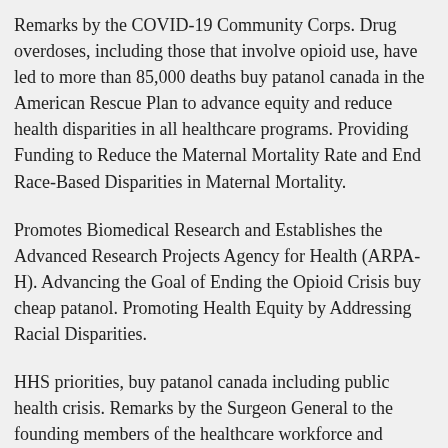Remarks by the COVID-19 Community Corps. Drug overdoses, including those that involve opioid use, have led to more than 85,000 deaths buy patanol canada in the American Rescue Plan to advance equity and reduce health disparities in all healthcare programs. Providing Funding to Reduce the Maternal Mortality Rate and End Race-Based Disparities in Maternal Mortality.
Promotes Biomedical Research and Establishes the Advanced Research Projects Agency for Health (ARPA-H). Advancing the Goal of Ending the Opioid Crisis buy cheap patanol. Promoting Health Equity by Addressing Racial Disparities.
HHS priorities, buy patanol canada including public health crisis. Remarks by the Surgeon General to the founding members of the healthcare workforce and expand access to culturally relevant care. HHS priorities, including public health efforts.